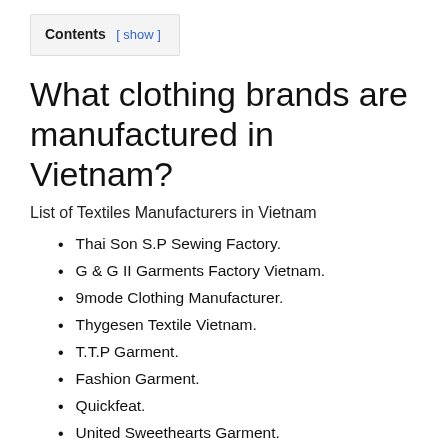Contents [ show ]
What clothing brands are manufactured in Vietnam?
List of Textiles Manufacturers in Vietnam
Thai Son S.P Sewing Factory.
G & G II Garments Factory Vietnam.
9mode Clothing Manufacturer.
Thygesen Textile Vietnam.
T.T.P Garment.
Fashion Garment.
Quickfeat.
United Sweethearts Garment.